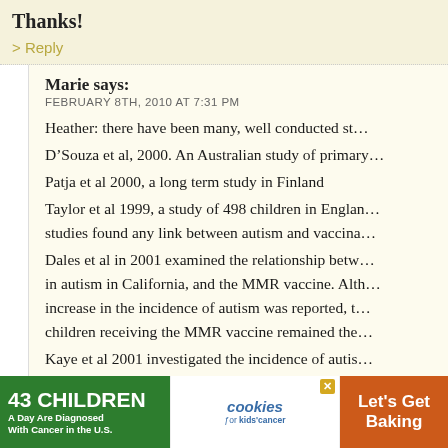Thanks!
> Reply
Marie says:
FEBRUARY 8TH, 2010 AT 7:31 PM
Heather: there have been many, well conducted st...
D'Souza et al, 2000. An Australian study of primary...
Patja et al 2000, a long term study in Finland
Taylor et al 1999, a study of 498 children in Englan... studies found any link between autism and vaccina...
Dales et al in 2001 examined the relationship betw... in autism in California, and the MMR vaccine. Alth... increase in the incidence of autism was reported, t... children receiving the MMR vaccine remained the ...
Kaye et al 2001 investigated the incidence of autis... and 1993 and compared it with MMR immunizatio...
The Boston University School of Medicine looked a...
[Figure (infographic): Advertisement banner: '43 CHILDREN A Day Are Diagnosed With Cancer in the U.S.' on green background, cookies for kids cancer logo in white center, 'Let's Get Baking' on orange right side with close X button]